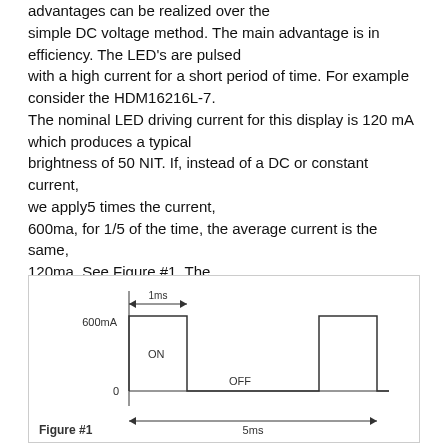advantages can be realized over the simple DC voltage method. The main advantage is in efficiency. The LED's are pulsed with a high current for a short period of time. For example consider the HDM16216L-7. The nominal LED driving current for this display is 120 mA which produces a typical brightness of 50 NIT. If, instead of a DC or constant current, we apply5 times the current, 600ma, for 1/5 of the time, the average current is the same, 120ma. See Figure #1. The average brightness of the LED would also be the same if measured electronically. The difference is in the perceived brightness
[Figure (engineering-diagram): A pulse waveform diagram (Figure #1) showing a square wave signal. The vertical axis shows 0 at the bottom and 600mA at the top. The waveform is ON (high) for 1ms and OFF (low) for the remaining 4ms of a 5ms period. The horizontal span is labeled 5ms. The ON pulse width is labeled 1ms. Labels: '600mA', '0', 'ON', 'OFF', 'Figure #1', '5ms', '1ms'.]